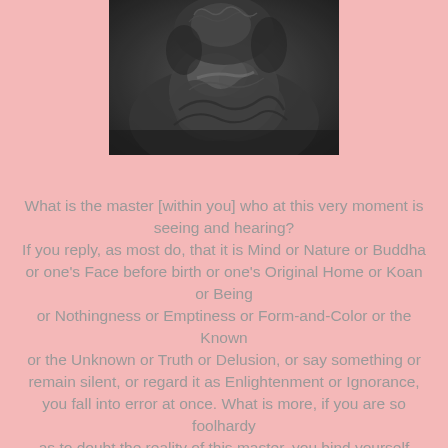[Figure (photo): Black and white close-up image of a Buddha statue, showing hands and robe details in a dark, textured rendering]
What is the master [within you] who at this very moment is seeing and hearing?
If you reply, as most do, that it is Mind or Nature or Buddha or one's Face before birth or one's Original Home or Koan or Being
or Nothingness or Emptiness or Form-and-Color or the Known
or the Unknown or Truth or Delusion, or say something or remain silent, or regard it as Enlightenment or Ignorance, you fall into error at once. What is more, if you are so foolhardy
as to doubt the reality of this master, you bind yourself though you use no rope.